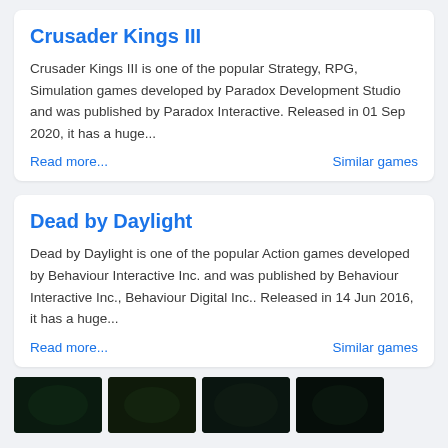Crusader Kings III
Crusader Kings III is one of the popular Strategy, RPG, Simulation games developed by Paradox Development Studio and was published by Paradox Interactive. Released in 01 Sep 2020, it has a huge...
Read more...
Similar games
Dead by Daylight
Dead by Daylight is one of the popular Action games developed by Behaviour Interactive Inc. and was published by Behaviour Interactive Inc., Behaviour Digital Inc.. Released in 14 Jun 2016, it has a huge...
Read more...
Similar games
[Figure (photo): Four dark green-tinted game thumbnail images at the bottom of the page]